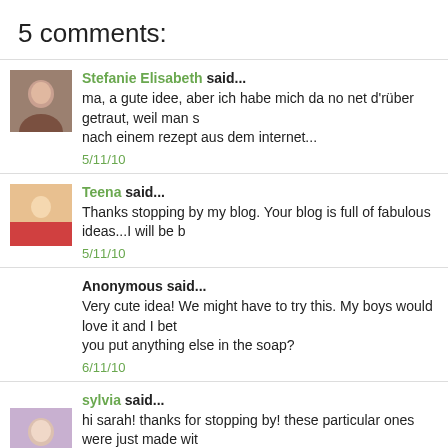5 comments:
Stefanie Elisabeth said...
ma, a gute idee, aber ich habe mich da no net d'rüber getraut, weil man s nach einem rezept aus dem internet...
5/11/10
Teena said...
Thanks stopping by my blog. Your blog is full of fabulous ideas...I will be b
5/11/10
Anonymous said...
Very cute idea! We might have to try this. My boys would love it and I bet you put anything else in the soap?
6/11/10
sylvia said...
hi sarah! thanks for stopping by! these particular ones were just made wit are endless!! you can add color or essential oils to get the scent you love tell us about the results of your soap-making endeavors!!